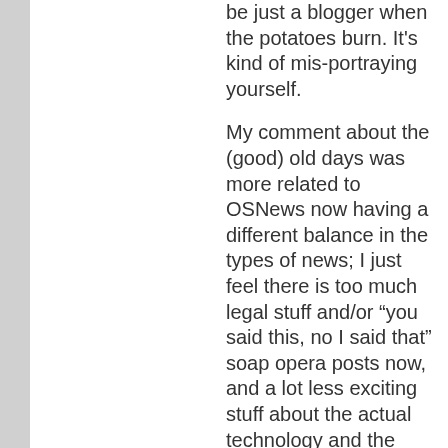be just a blogger when the potatoes burn. It's kind of mis-portraying yourself.
My comment about the (good) old days was more related to OSNews now having a different balance in the types of news; I just feel there is too much legal stuff and/or “you said this, no I said that” soap opera posts now, and a lot less exciting stuff about the actual technology and the people that make such technology happen.
I don't argue that there may have been more